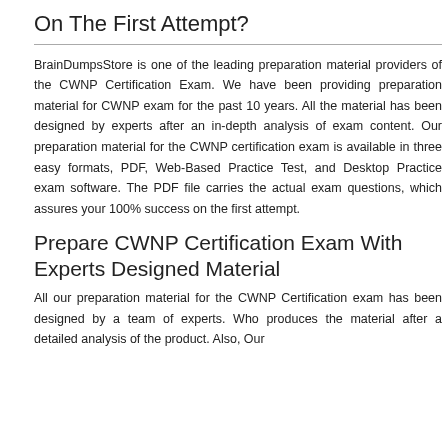On The First Attempt?
BrainDumpsStore is one of the leading preparation material providers of the CWNP Certification Exam. We have been providing preparation material for CWNP exam for the past 10 years. All the material has been designed by experts after an in-depth analysis of exam content. Our preparation material for the CWNP certification exam is available in three easy formats, PDF, Web-Based Practice Test, and Desktop Practice exam software. The PDF file carries the actual exam questions, which assures your 100% success on the first attempt.
Prepare CWNP Certification Exam With Experts Designed Material
All our preparation material for the CWNP Certification exam has been designed by a team of experts. Who produces the material after a detailed analysis of the product. Also, Our